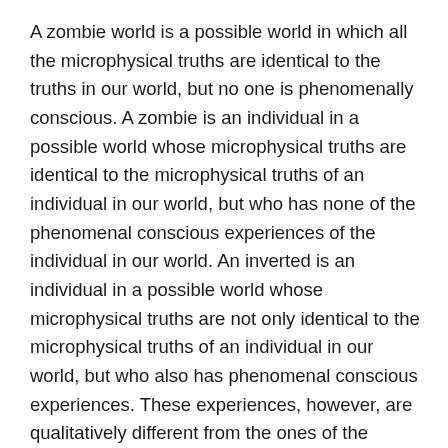A zombie world is a possible world in which all the microphysical truths are identical to the truths in our world, but no one is phenomenally conscious. A zombie is an individual in a possible world whose microphysical truths are identical to the microphysical truths of an individual in our world, but who has none of the phenomenal conscious experiences of the individual in our world. An inverted is an individual in a possible world whose microphysical truths are not only identical to the microphysical truths of an individual in our world, but who also has phenomenal conscious experiences. These experiences, however, are qualitatively different from the ones of the individual in our world. The first premise of Chalmers' conceivability argument against materialism is that a zombie world, a zombie and an inverted are ideally conceivable. This paper rejects this premise in claiming that: given that current physics does not allow philosophers to establish a clear concept of the physical that could be opposed to something else non-physical, a zombie world, a zombie and an inverted are not ideally conceivable.